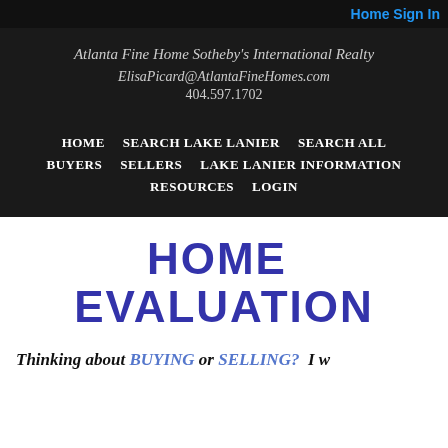Home Sign In
Atlanta Fine Home Sotheby's International Realty
ElisaPicard@AtlantaFineHomes.com
404.597.1702
HOME
SEARCH LAKE LANIER
SEARCH ALL
BUYERS
SELLERS
LAKE LANIER INFORMATION
RESOURCES
LOGIN
HOME EVALUATION
Thinking about BUYING or SELLING?  I w